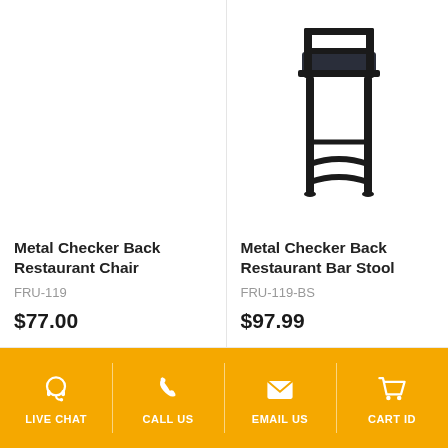[Figure (photo): Metal Checker Back Restaurant Chair product photo (blank/white area, chair not visible in crop)]
Metal Checker Back Restaurant Chair
FRU-119
$77.00
[Figure (photo): Metal Checker Back Restaurant Bar Stool product photo showing a black metal bar stool with dark blue seat]
Metal Checker Back Restaurant Bar Stool
FRU-119-BS
$97.99
LIVE CHAT
CALL US
EMAIL US
CART ID